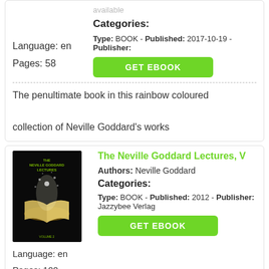available
Categories:
Type: BOOK - Published: 2017-10-19 - Publisher:
Language: en
Pages: 58
GET EBOOK
The penultimate book in this rainbow coloured collection of Neville Goddard's works
[Figure (photo): Book cover: The Neville Goddard Lectures with an open glowing book on a dark background]
The Neville Goddard Lectures, V
Authors: Neville Goddard
Categories:
Type: BOOK - Published: 2012 - Publisher: Jazzybee Verlag
Language: en
Pages: 100
GET EBOOK
Neville Goddard was one of the most gifted and yet